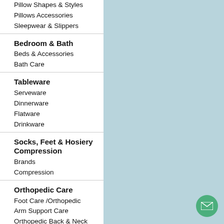Pillow Shapes & Styles
Pillows Accessories
Sleepwear & Slippers
Bedroom & Bath
Beds & Accessories
Bath Care
Tableware
Serveware
Dinnerware
Flatware
Drinkware
Socks, Feet & Hosiery Compression
Brands
Compression
Orthopedic Care
Foot Care /Orthopedic
Arm Support Care
Orthopedic Back & Neck Care
Personal Care
Nail Care
Foot Care
Exercise Equipment